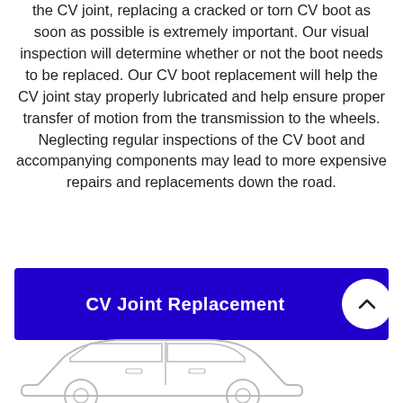the CV joint, replacing a cracked or torn CV boot as soon as possible is extremely important. Our visual inspection will determine whether or not the boot needs to be replaced. Our CV boot replacement will help the CV joint stay properly lubricated and help ensure proper transfer of motion from the transmission to the wheels. Neglecting regular inspections of the CV boot and accompanying components may lead to more expensive repairs and replacements down the road.
[Figure (other): Blue button/banner with white bold text 'CV Joint Replacement' and a white circular chevron-up arrow button on the right side]
[Figure (illustration): Green circular phone call button icon in the bottom right, and a line drawing outline of a sedan car at the bottom of the page]